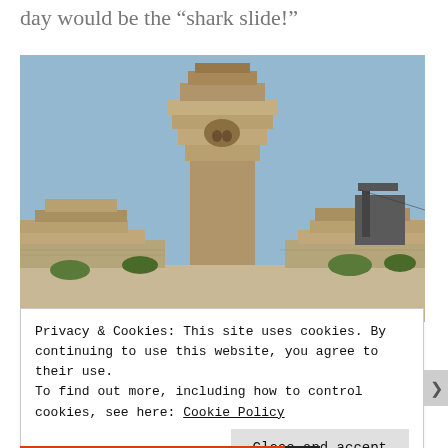day would be the “shark slide!”
[Figure (photo): A large stepped pyramid-like concrete structure resembling an ancient temple or water park ride tower, photographed against a clear blue sky. The structure has layered stone-colored tiers with a central column featuring decorative face-like carvings. Overgrown vegetation and construction equipment visible.]
Privacy & Cookies: This site uses cookies. By continuing to use this website, you agree to their use.
To find out more, including how to control cookies, see here: Cookie Policy